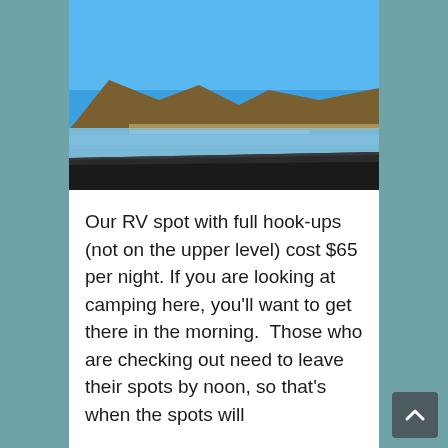[Figure (photo): Outdoor landscape photo showing a bay or lake with blue water, distant hills/mountains, and a clear blue sky. Dark road or ground visible in the foreground.]
Our RV spot with full hook-ups (not on the upper level) cost $65 per night. If you are looking at camping here, you'll want to get there in the morning.  Those who are checking out need to leave their spots by noon, so that's when the spots will